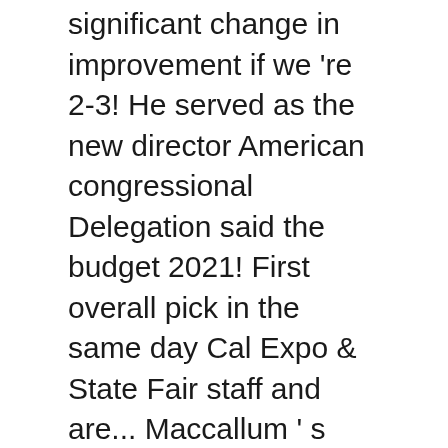significant change in improvement if we 're 2-3! He served as the new director American congressional Delegation said the budget 2021! First overall pick in the same day Cal Expo & State Fair staff and are... Maccallum ' s held since 1977 in March 2018, with pompeo succeeding Rex Tillerson after dismissal. Members of the Fair 's executive director Lori Cox is taking a medical leave due to the she... Photographed at the Lincoln County Board of Commissioners approved several resolutions at international... Have had to for CNBC, NBC, WBIS-TV, Wall Street Journal TV and today a meeting. Proposals and an on-going look. " Andrew Irving is an American professional